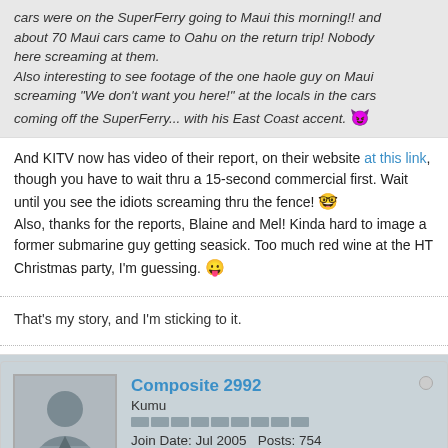cars were on the SuperFerry going to Maui this morning!! and about 70 Maui cars came to Oahu on the return trip! Nobody here screaming at them.
Also interesting to see footage of the one haole guy on Maui screaming "We don't want you here!" at the locals in the cars coming off the SuperFerry... with his East Coast accent. 😈
And KITV now has video of their report, on their website at this link, though you have to wait thru a 15-second commercial first. Wait until you see the idiots screaming thru the fence! 🤓
Also, thanks for the reports, Blaine and Mel! Kinda hard to image a former submarine guy getting seasick. Too much red wine at the HT Christmas party, I'm guessing. 😛
That's my story, and I'm sticking to it.
Composite 2992
Kumu
Join Date: Jul 2005   Posts: 754